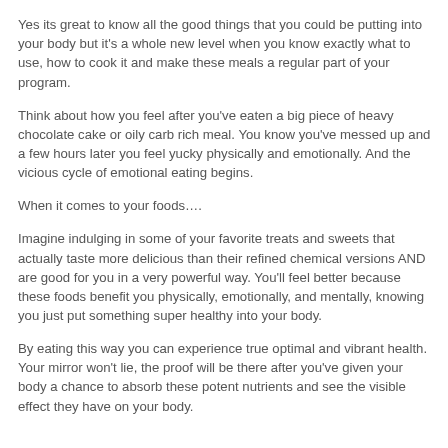very new to all of us.
Yes its great to know all the good things that you could be putting into your body but it's a whole new level when you know exactly what to use, how to cook it and make these meals a regular part of your program.
Think about how you feel after you've eaten a big piece of heavy chocolate cake or oily carb rich meal. You know you've messed up and a few hours later you feel yucky physically and emotionally. And the vicious cycle of emotional eating begins.
When it comes to your foods….
Imagine indulging in some of your favorite treats and sweets that actually taste more delicious than their refined chemical versions AND are good for you in a very powerful way. You'll feel better because these foods benefit you physically, emotionally, and mentally, knowing you just put something super healthy into your body.
By eating this way you can experience true optimal and vibrant health. Your mirror won't lie, the proof will be there after you've given your body a chance to absorb these potent nutrients and see the visible effect they have on your body.